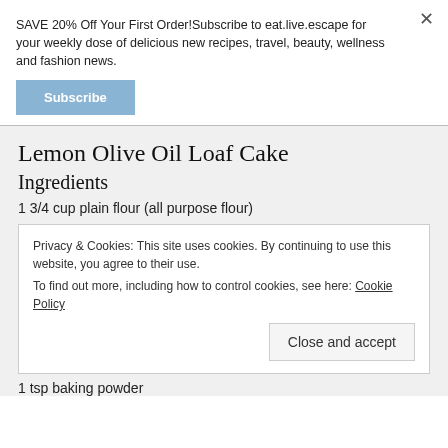SAVE 20% Off Your First Order!Subscribe to eat.live.escape for your weekly dose of delicious new recipes, travel, beauty, wellness and fashion news.
Subscribe
Lemon Olive Oil Loaf Cake
Ingredients
1 3/4 cup plain flour (all purpose flour)
Privacy & Cookies: This site uses cookies. By continuing to use this website, you agree to their use.
To find out more, including how to control cookies, see here: Cookie Policy
Close and accept
1 tsp baking powder